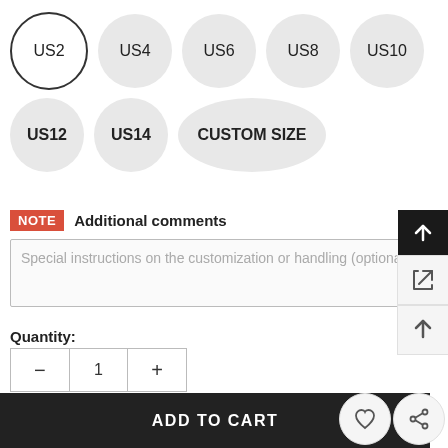US2 US4 US6 US8 US10 US12 US14 CUSTOM SIZE
NOTE  Additional comments
Special instructions on the customization or handling (optional)
Quantity:
1
Subtotal: $238.99
ADD TO CART